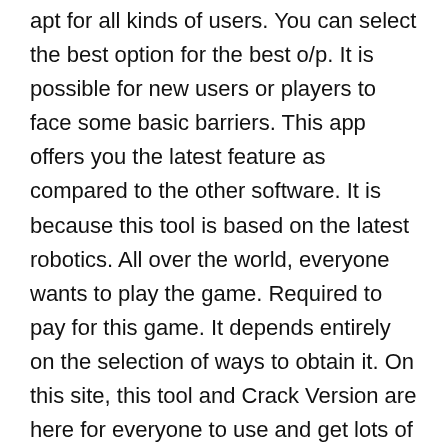more, you can get this software for deeply. This is apt for all kinds of users. You can select the best option for the best o/p. It is possible for new users or players to face some basic barriers. This app offers you the latest feature as compared to the other software. It is because this tool is based on the latest robotics. All over the world, everyone wants to play the game. Required to pay for this game. It depends entirely on the selection of ways to obtain it. On this site, this tool and Crack Version are here for everyone to use and get lots of benefits. Having chosen the way of the crack can help you avoid using too much. Users can get a similar kind of fun at no cost.
Cuphead Crack + Registration